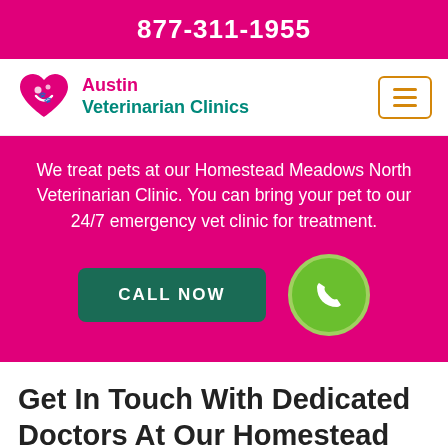877-311-1955
[Figure (logo): Austin Veterinarian Clinics logo with pink heart and paw icon]
We treat pets at our Homestead Meadows North Veterinarian Clinic. You can bring your pet to our 24/7 emergency vet clinic for treatment.
CALL NOW
Get In Touch With Dedicated Doctors At Our Homestead Meadows North Veterinarian Clinic.